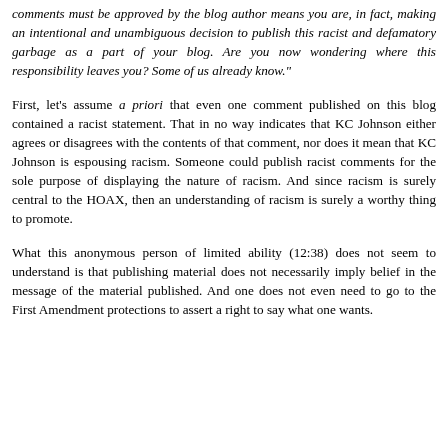comments must be approved by the blog author means you are, in fact, making an intentional and unambiguous decision to publish this racist and defamatory garbage as a part of your blog. Are you now wondering where this responsibility leaves you? Some of us already know."
First, let's assume a priori that even one comment published on this blog contained a racist statement. That in no way indicates that KC Johnson either agrees or disagrees with the contents of that comment, nor does it mean that KC Johnson is espousing racism. Someone could publish racist comments for the sole purpose of displaying the nature of racism. And since racism is surely central to the HOAX, then an understanding of racism is surely a worthy thing to promote.
What this anonymous person of limited ability (12:38) does not seem to understand is that publishing material does not necessarily imply belief in the message of the material published. And one does not even need to go to the First Amendment protections to assert a right to say what one wants.